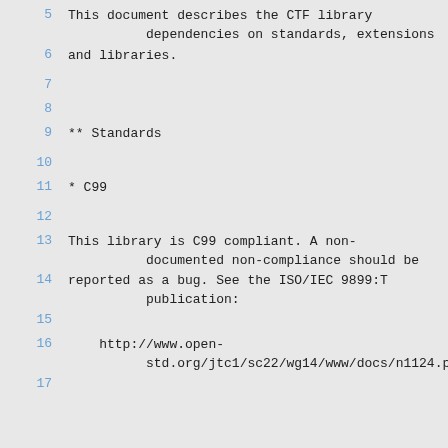5    This document describes the CTF library
          dependencies on standards, extensions
6    and libraries.
7
8
9    ** Standards
10
11   * C99
12
13   This library is C99 compliant. A non-
          documented non-compliance should be
14   reported as a bug. See the ISO/IEC 9899:T
          publication:
15
16     http://www.open-
          std.org/jtc1/sc22/wg14/www/docs/n1124.pdf
17